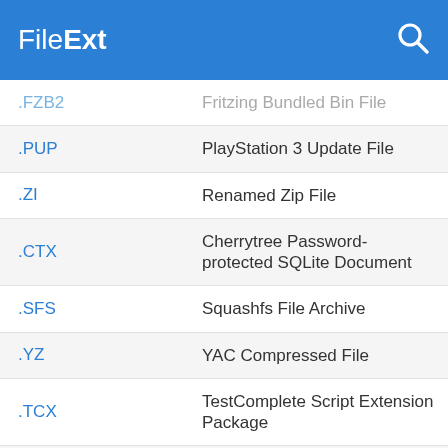FileExt
| Extension | Description |
| --- | --- |
| .FZB2 | Fritzing Bundled Bin File |
| .PUP | PlayStation 3 Update File |
| .ZI | Renamed Zip File |
| .CTX | Cherrytree Password-protected SQLite Document |
| .SFS | Squashfs File Archive |
| .YZ | YAC Compressed File |
| .TCX | TestComplete Script Extension Package |
| .WHL | Python Wheel Package |
| .B1 | B1 Compressed Archive |
| .ARDUBOY | Arduboy Game Package |
| .CBZ | Comic Book Zip Archive |